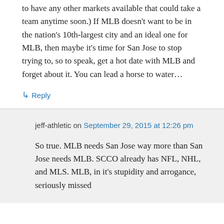to have any other markets available that could take a team anytime soon.) If MLB doesn't want to be in the nation's 10th-largest city and an ideal one for MLB, then maybe it's time for San Jose to stop trying to, so to speak, get a hot date with MLB and forget about it. You can lead a horse to water…
↳ Reply
jeff-athletic on September 29, 2015 at 12:26 pm
So true. MLB needs San Jose way more than San Jose needs MLB. SCCO already has NFL, NHL, and MLS. MLB, in it's stupidity and arrogance, seriously missed